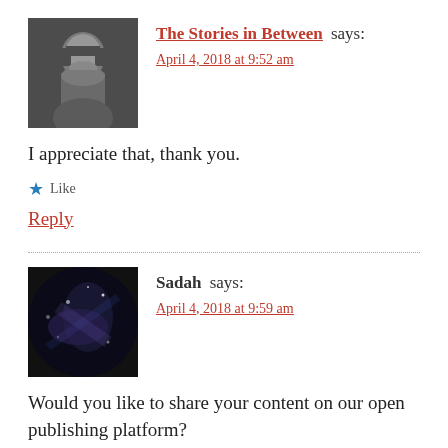[Figure (photo): Black and white avatar photo of a man with beard and long hair]
The Stories in Between says:
April 4, 2018 at 9:52 am
I appreciate that, thank you.
Like
Reply
[Figure (photo): Dark night sky / galaxy avatar photo]
Sadah says:
April 4, 2018 at 9:59 am
Would you like to share your content on our open publishing platform?